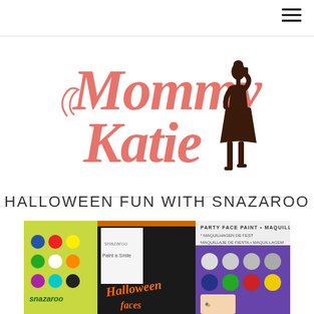Mommy Katie — hamburger menu
[Figure (logo): Mommy Katie blog logo with pink cursive text and silhouette of woman in dress]
HALLOWEEN FUN WITH SNAZAROO
[Figure (photo): Photo of Snazaroo face paint products including Halloween faces kit, party face paint set with color palette, and paint a smile book]